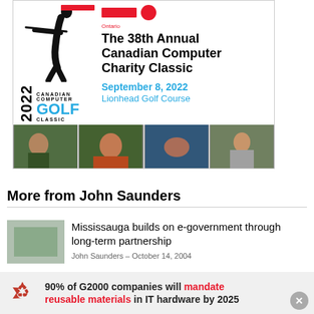[Figure (illustration): Advertisement for the 38th Annual Canadian Computer Charity Classic golf event on September 8, 2022 at Lionhead Golf Course. Features a golfer silhouette, 2022 Canadian Computer Golf Classic logo, Ontario ribbon, event title, date, venue, and four photos of children.]
More from John Saunders
Mississauga builds on e-government through long-term partnership
John Saunders – October 14, 2004
[Figure (infographic): Banner advertisement: recycle icon on left. Text reads: 90% of G2000 companies will mandate reusable materials in IT hardware by 2025. Close button (x) at bottom right.]